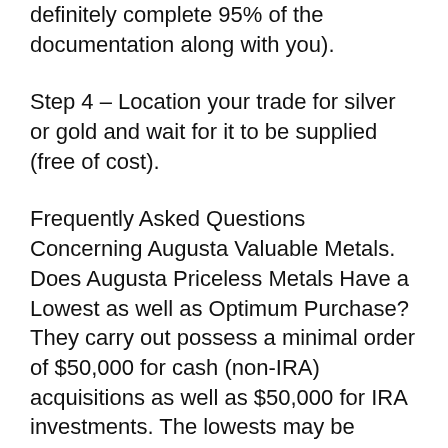definitely complete 95% of the documentation along with you).
Step 4 – Location your trade for silver or gold and wait for it to be supplied (free of cost).
Frequently Asked Questions Concerning Augusta Valuable Metals.
Does Augusta Priceless Metals Have a Lowest as well as Optimum Purchase? They carry out possess a minimal order of $50,000 for cash (non-IRA) acquisitions as well as $50,000 for IRA investments. The lowests may be fulfilled through acquiring any type of mixture of products you choose. They perform not confine the maximum dimension of your order. Even when you would like to obtain a huge quantity of bodily